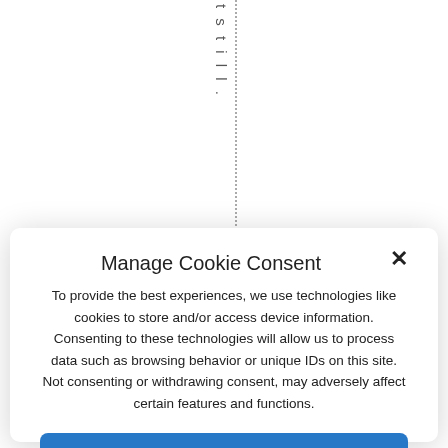[Figure (screenshot): Vertical dotted text showing letters 't s t i l l .' stacked vertically with a dotted border line]
Manage Cookie Consent
To provide the best experiences, we use technologies like cookies to store and/or access device information. Consenting to these technologies will allow us to process data such as browsing behavior or unique IDs on this site. Not consenting or withdrawing consent, may adversely affect certain features and functions.
Accept
Deny
View preferences